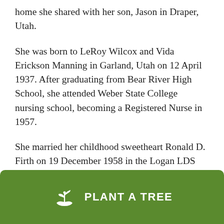home she shared with her son, Jason in Draper, Utah.
She was born to LeRoy Wilcox and Vida Erickson Manning in Garland, Utah on 12 April 1937. After graduating from Bear River High School, she attended Weber State College nursing school, becoming a Registered Nurse in 1957.
She married her childhood sweetheart Ronald D. Firth on 19 December 1958 in the Logan LDS Temple. They lived in Bothwell, Rupert (Idaho), and Heber City before making their home in Pleasant Grove, Utah
[Figure (other): Green button with plant/tree icon and text PLANT A TREE]